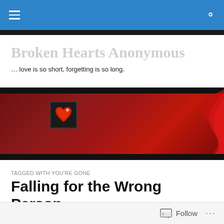Broken Hearts Anonymous
Broken Hearts Anonymous
… love is so short, forgetting is so long.
[Figure (photo): Dark red banner with glowing heart icon]
TAGGED WITH YOU'RE GONE
Falling for the Wrong Person
[Figure (photo): Small dark icon with red glowing heart]
Follow